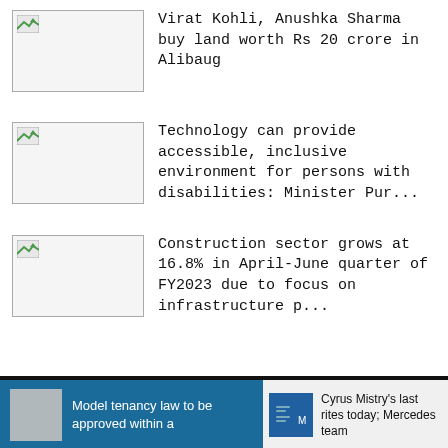Virat Kohli, Anushka Sharma buy land worth Rs 20 crore in Alibaug
Technology can provide accessible, inclusive environment for persons with disabilities: Minister Pur...
Construction sector grows at 16.8% in April-June quarter of FY2023 due to focus on infrastructure p...
Model tenancy law to be approved within a
Cyrus Mistry's last rites today; Mercedes team